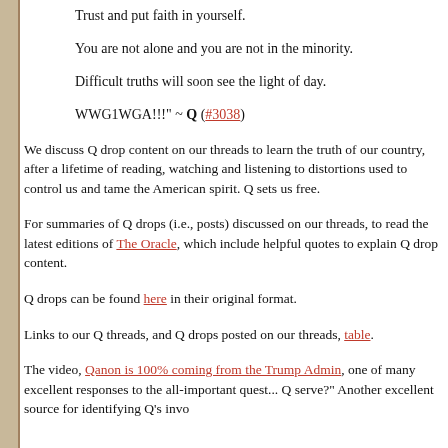Trust and put faith in yourself.
You are not alone and you are not in the minority.
Difficult truths will soon see the light of day.
WWG1WGA!!!" ~ Q (#3038)
We discuss Q drop content on our threads to learn the truth of our country, after a lifetime of reading, watching and listening to distortions used to control us and tame the American spirit. Q sets us free.
For summaries of Q drops (i.e., posts) discussed on our threads, to read the latest editions of The Oracle, which include helpful quotes to explain Q drop content.
Q drops can be found here in their original format.
Links to our Q threads, and Q drops posted on our threads, table.
The video, Qanon is 100% coming from the Trump Administration, one of many excellent responses to the all-important question, Who does Q serve?" Another excellent source for identifying Q's involvement